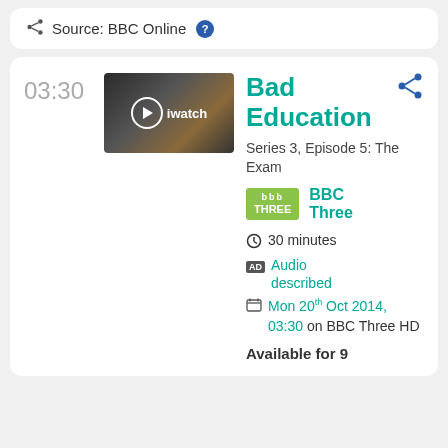Source: BBC Online
[Figure (screenshot): TV show thumbnail with play button overlay showing 'iwatch' text]
Bad Education
Series 3, Episode 5: The Exam
BBC Three
30 minutes
Audio described
Mon 20th Oct 2014, 03:30 on BBC Three HD
Available for 9